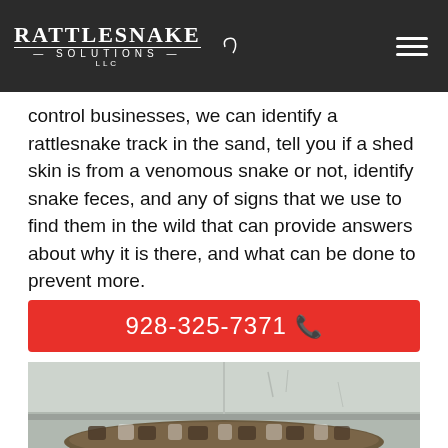Rattlesnake Solutions LLC
control businesses, we can identify a rattlesnake track in the sand, tell you if a shed skin is from a venomous snake or not, identify snake feces, and any of signs that we use to find them in the wild that can provide answers about why it is there, and what can be done to prevent more.
928-325-7371
[Figure (photo): Close-up photo of a rattlesnake coiled near a white painted wall/door frame. The snake has distinctive brown and white patterned scales.]